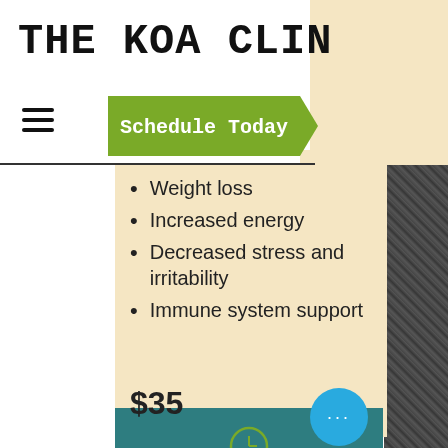THE KOA CLIN
[Figure (screenshot): Green arrow-shaped button with text 'Schedule Today']
Weight loss
Increased energy
Decreased stress and irritability
Immune system support
$35